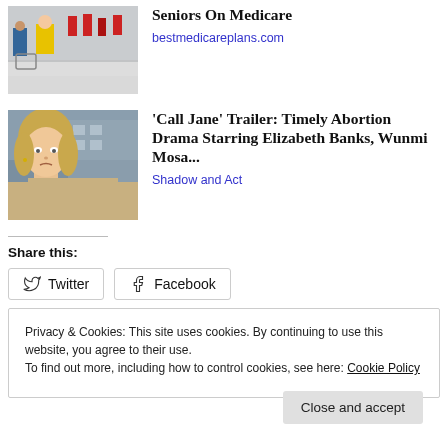[Figure (photo): People shopping in a store aisle with shopping carts, one person in a yellow jacket visible]
Seniors On Medicare
bestmedicareplans.com
[Figure (photo): Woman with blonde hair looking distressed, wearing a beige coat, appearing to be a movie still]
'Call Jane' Trailer: Timely Abortion Drama Starring Elizabeth Banks, Wunmi Mosa...
Shadow and Act
Share this:
Twitter
Facebook
Privacy & Cookies: This site uses cookies. By continuing to use this website, you agree to their use.
To find out more, including how to control cookies, see here: Cookie Policy
Close and accept